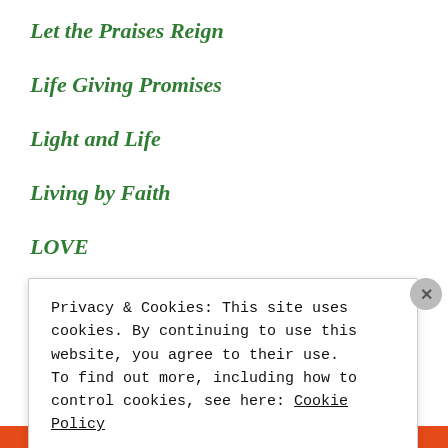Let the Praises Reign
Life Giving Promises
Light and Life
Living by Faith
LOVE
Love & Fire
Privacy & Cookies: This site uses cookies. By continuing to use this website, you agree to their use.
To find out more, including how to control cookies, see here: Cookie Policy
Close and accept